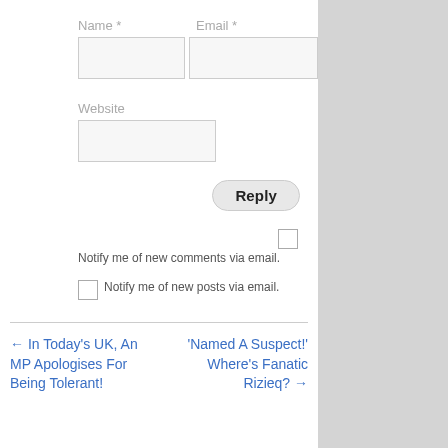Name *
Email *
Website
Reply
Notify me of new comments via email.
Notify me of new posts via email.
← In Today's UK, An MP Apologises For Being Tolerant!
'Named A Suspect!' Where's Fanatic Rizieq? →